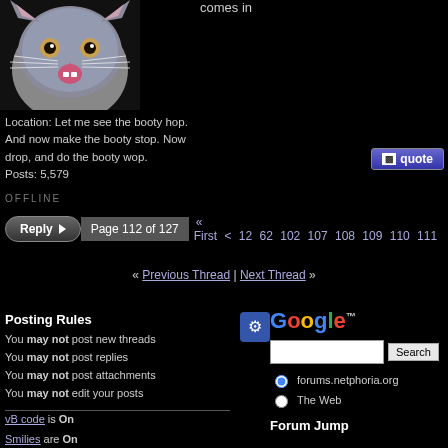[Figure (photo): Gray British Shorthair cat with open mouth against black background]
comes in
Location: Let me see the booty hop. And now make the booty stop. Now drop, and do the booty wop.
Posts: 5,579
[Figure (other): Quote button (blue/purple gradient with quote icon)]
OFFLINE
Reply | Page 112 of 127  « First < 12 62 102 107 108 109 110 111
« Previous Thread | Next Thread »
Posting Rules
You may not post new threads
You may not post replies
You may not post attachments
You may not edit your posts
vB code is On
Smilies are On
[IMG] code is On
[Figure (other): Google search box with forums.netphoria.org and The Web radio buttons]
Forum Jump